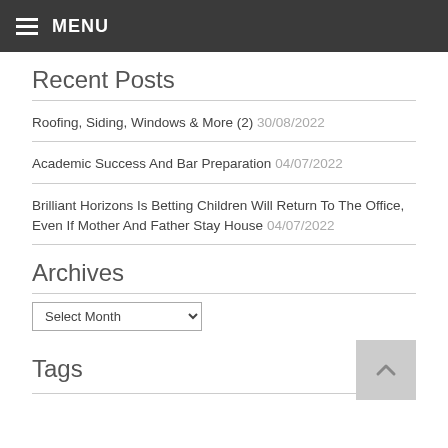≡ MENU
Recent Posts
Roofing, Siding, Windows & More (2) 30/08/2022
Academic Success And Bar Preparation 04/07/2022
Brilliant Horizons Is Betting Children Will Return To The Office, Even If Mother And Father Stay House 04/07/2022
Archives
Select Month
Tags